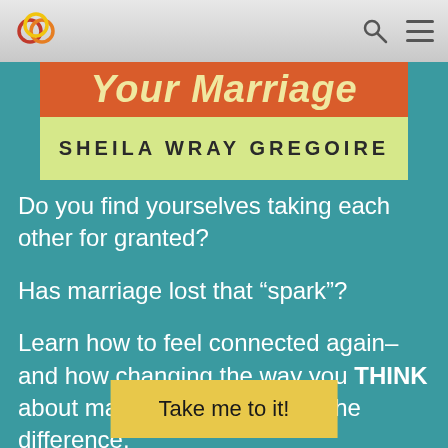Navigation bar with logo, search, and menu icons
[Figure (illustration): Partial book cover showing title 'Your Marriage' in italic yellow text on orange background, and author name 'SHEILA WRAY GREGOIRE' on light yellow-green background]
Do you find yourselves taking each other for granted?
Has marriage lost that “spark”?
Learn how to feel connected again–and how changing the way you THINK about marriage can make all the difference.
Take me to it!